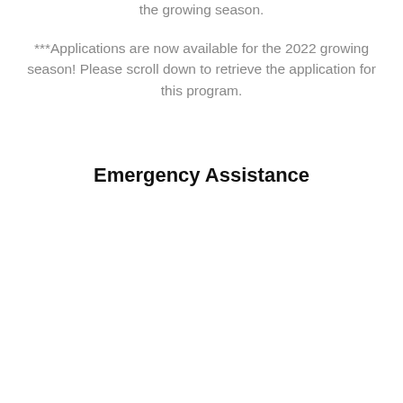the growing season.
***Applications are now available for the 2022 growing season! Please scroll down to retrieve the application for this program.
Emergency Assistance